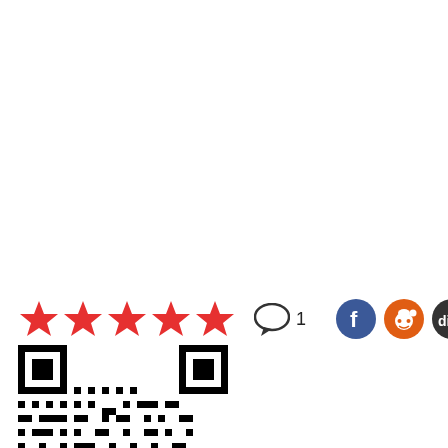[Figure (infographic): Five red stars rating, a comment bubble with '1', and four social media icons (Facebook, Reddit, Digg, Twitter)]
[Figure (other): QR code image in black and white]